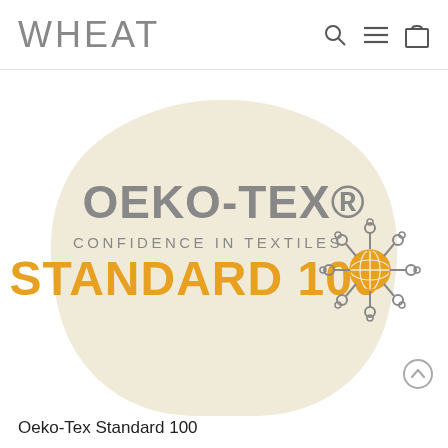WHEAT
[Figure (logo): OEKO-TEX STANDARD 100 certification logo on a beige blob/organic shape background. Large gray text reads OEKO-TEX® with subtitle CONFIDENCE IN TEXTILES, and large orange bold text reads STANDARD 100. A decorative snowflake-like globe icon appears to the right in gray and orange.]
Oeko-Tex Standard 100